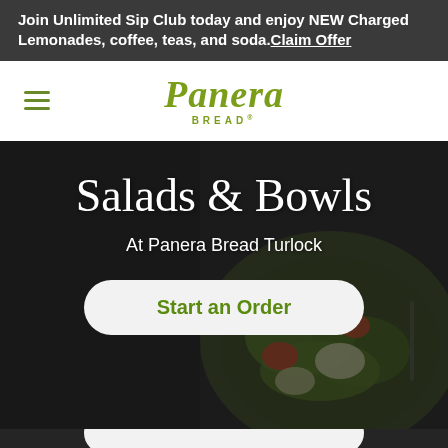Join Unlimited Sip Club today and enjoy NEW Charged Lemonades, coffee, teas, and soda. Claim Offer
[Figure (logo): Panera Bread logo with stylized script lettering in olive green and BREAD subtitle]
Salads & Bowls
At Panera Bread Turlock
Start an Order